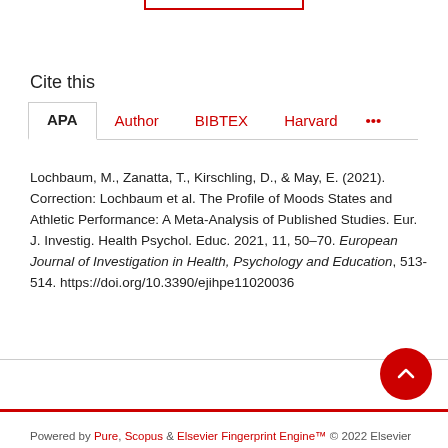Cite this
APA  Author  BIBTEX  Harvard  ...
Lochbaum, M., Zanatta, T., Kirschling, D., & May, E. (2021). Correction: Lochbaum et al. The Profile of Moods States and Athletic Performance: A Meta-Analysis of Published Studies. Eur. J. Investig. Health Psychol. Educ. 2021, 11, 50–70. European Journal of Investigation in Health, Psychology and Education, 513-514. https://doi.org/10.3390/ejihpe11020036
Powered by Pure, Scopus & Elsevier Fingerprint Engine™ © 2022 Elsevier